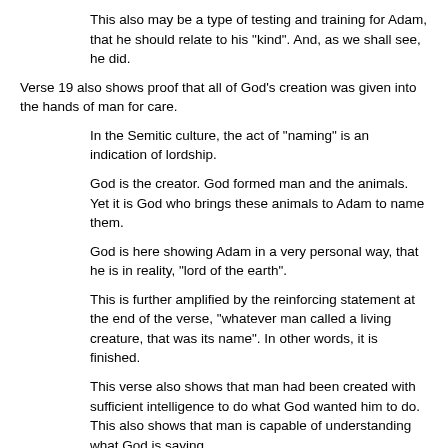This also may be a type of testing and training for Adam, that he should relate to his "kind".  And, as we shall see, he did.
Verse 19 also shows proof that all of God's creation was given into the hands of man for care.
In the Semitic culture, the act of "naming" is an indication of lordship.
God is the creator.  God formed man and the animals.  Yet it is God who brings these animals to Adam to name them.
God is here showing Adam in a very personal way, that he is in reality, "lord of the earth".
This is further amplified by the reinforcing statement at the end of the verse, "whatever man called a living creature, that was its name". In other words, it is finished.
This verse also shows that man had been created with sufficient intelligence to do what God wanted him to do. This also shows that man is capable of understanding what God is saying.
God did not create man only to test him to the point of failure as some may say.   It always has been man's own pride and greed; part of his free will, that makes him want more than God has been willing to give him, and that turns him from God.
While we are still looking at verse 19, we should also further consider the creation process of the animals, and the words used to express the conditions.
The word, "formed", is the Hebrew word, "yttsehr", which means to make or create as a potter makes a bowl out of a lump of clay.